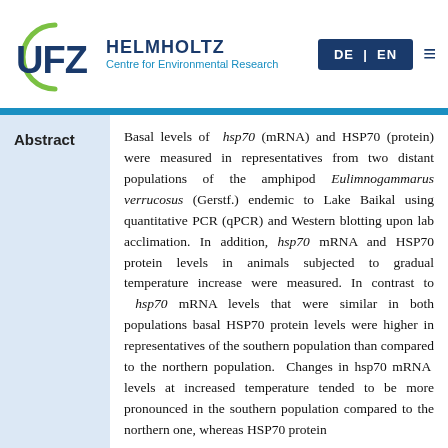UFZ Helmholtz Centre for Environmental Research — DE | EN
Abstract
Basal levels of hsp70 (mRNA) and HSP70 (protein) were measured in representatives from two distant populations of the amphipod Eulimnogammarus verrucosus (Gerstf.) endemic to Lake Baikal using quantitative PCR (qPCR) and Western blotting upon lab acclimation. In addition, hsp70 mRNA and HSP70 protein levels in animals subjected to gradual temperature increase were measured. In contrast to hsp70 mRNA levels that were similar in both populations basal HSP70 protein levels were higher in representatives of the southern population than compared to the northern population. Changes in hsp70 mRNA levels at increased temperature tended to be more pronounced in the southern population compared to the northern one, whereas HSP70 protein changes were distinct in both populations. Th